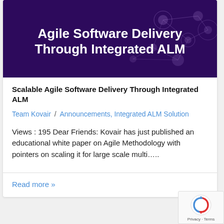[Figure (illustration): Dark purple hero banner with white bold text 'Agile Software Delivery Through Integrated ALM' and decorative network/node graphic on the right side]
Scalable Agile Software Delivery Through Integrated ALM
Team Kovair / Announcements, Integrated ALM Solution
Views : 195 Dear Friends: Kovair has just published an educational white paper on Agile Methodology with pointers on scaling it for large scale multi.....
Read more »